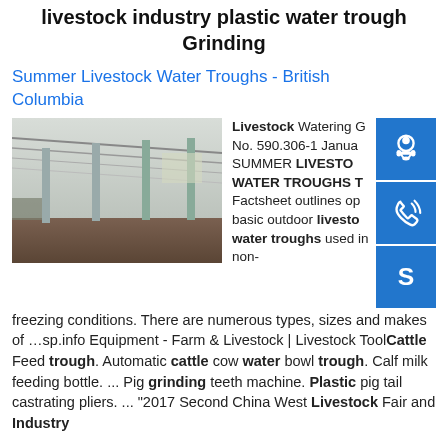livestock industry plastic water trough Grinding
Summer Livestock Water Troughs - British Columbia
[Figure (photo): Interior of a large industrial livestock barn or warehouse with steel columns and roof structure, earthen floor.]
Livestock Watering Guide No. 590.306-1 January SUMMER LIVESTOCK WATER TROUGHS Factsheet outlines op basic outdoor livestock water troughs used in non-freezing conditions. There are numerous types, sizes and makes of …sp.info Equipment - Farm & Livestock | Livestock Tool Cattle Feed trough. Automatic cattle cow water bowl trough. Calf milk feeding bottle. ... Pig grinding teeth machine. Plastic pig tail castrating pliers. ... "2017 Second China West Livestock Fair and Industry